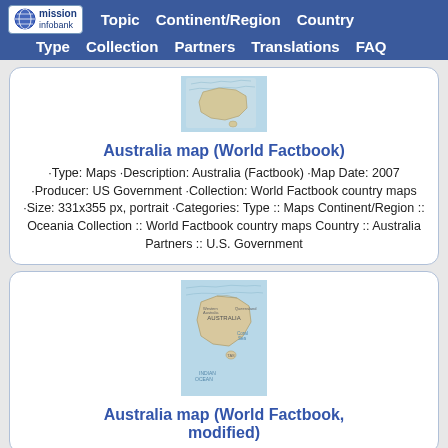mission infobank — Topic | Continent/Region | Country | Type | Collection | Partners | Translations | FAQ
[Figure (map): Small thumbnail map of Australia (World Factbook), showing ocean/island detail]
Australia map (World Factbook)
·Type: Maps ·Description: Australia (Factbook) ·Map Date: 2007 ·Producer: US Government ·Collection: World Factbook country maps ·Size: 331x355 px, portrait ·Categories: Type :: Maps Continent/Region :: Oceania Collection :: World Factbook country maps Country :: Australia Partners :: U.S. Government
[Figure (map): Thumbnail map of Australia (World Factbook, modified), showing labeled country map]
Australia map (World Factbook, modified)